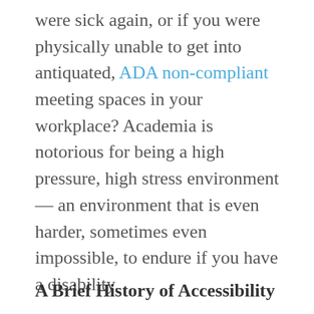were sick again, or if you were physically unable to get into antiquated, ADA non-compliant meeting spaces in your workplace? Academia is notorious for being a high pressure, high stress environment — an environment that is even harder, sometimes even impossible, to endure if you have a disability.
A Brief History of Accessibility